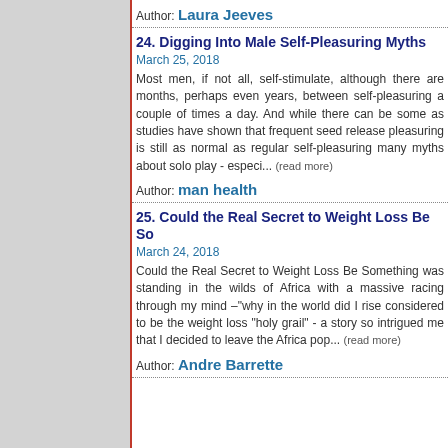Author: Laura Jeeves
24. Digging Into Male Self-Pleasuring Myths
March 25, 2018
Most men, if not all, self-stimulate, although there are months, perhaps even years, between self-pleasuring a couple of times a day. And while there can be some as studies have shown that frequent seed release pleasuring is still as normal as regular self-pleasuring many myths about solo play - especi... (read more)
Author: man health
25. Could the Real Secret to Weight Loss Be So
March 24, 2018
Could the Real Secret to Weight Loss Be Something was standing in the wilds of Africa with a massive racing through my mind –"why in the world did I rise considered to be the weight loss "holy grail" - a story so intrigued me that I decided to leave the Africa pop... (read more)
Author: Andre Barrette